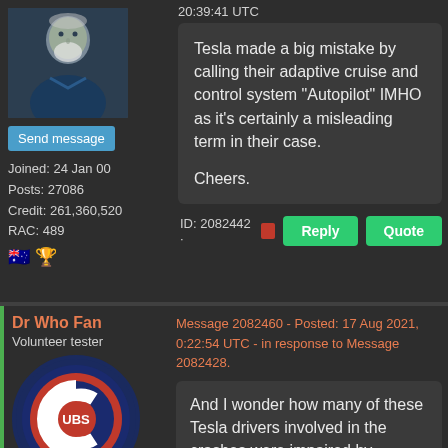20:39:41 UTC
Tesla made a big mistake by calling their adaptive cruise and control system "Autopilot" IMHO as it's certainly a misleading term in their case.

Cheers.
Send message
Joined: 24 Jan 00
Posts: 27086
Credit: 261,360,520
RAC: 489
ID: 2082442 · Reply Quote
Dr Who Fan
Volunteer tester
Message 2082460 - Posted: 17 Aug 2021, 0:22:54 UTC - in response to Message 2082428.
And I wonder how many of these Tesla drivers involved in the crashes were impaired by drugs/alchohol or were inattentive to the road.
Send message